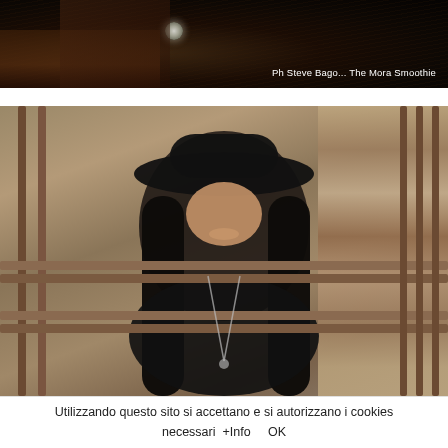[Figure (photo): Dark close-up photo of an animal (likely a horse) with dark fur, showing a circular lens or eye detail, with photo credit text overlay reading 'Ph Steve Bago... The Mora Smoothie']
Ph Steve Bago... The Mora Smoothie
[Figure (photo): Portrait photo of a young woman with long black hair wearing a wide-brimmed black hat and black jacket, smiling and leaning on metal railings with a stone wall background]
Utilizzando questo sito si accettano e si autorizzano i cookies necessari  +Info     OK